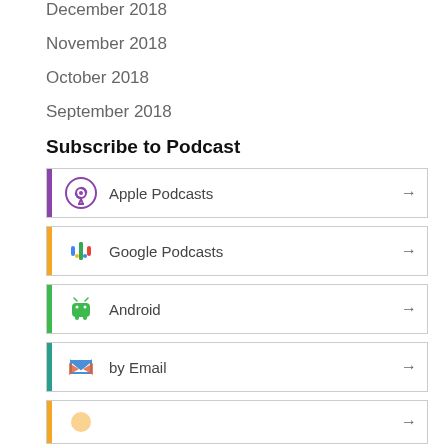December 2018
November 2018
October 2018
September 2018
Subscribe to Podcast
Apple Podcasts
Google Podcasts
Android
by Email